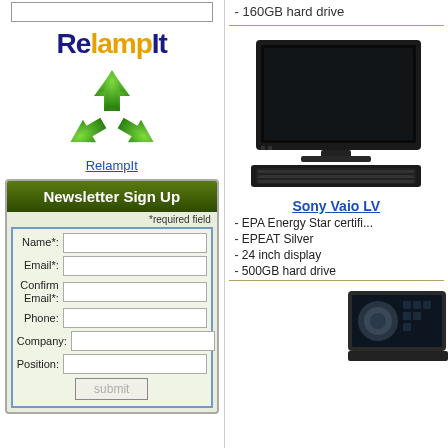[Figure (logo): RelampIt logo with recycling symbol]
RelampIt
[Figure (infographic): Newsletter Sign Up form with fields: Name*, Email*, Confirm Email*, Phone, Company, Position, and submit button]
- 160GB hard drive
[Figure (photo): Sony Vaio LV desktop computer with monitor and keyboard]
Sony Vaio LV
- EPA Energy Star certified
- EPEAT Silver
- 24 inch display
- 500GB hard drive
[Figure (photo): Laptop computer partially visible at bottom right]